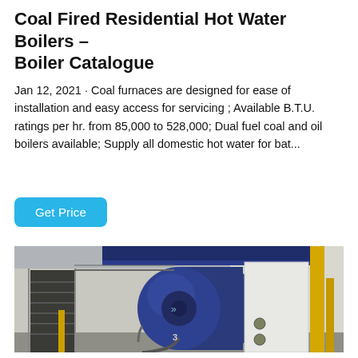Coal Fired Residential Hot Water Boilers – Boiler Catalogue
Jan 12, 2021 · Coal furnaces are designed for ease of installation and easy access for servicing ; Available B.T.U. ratings per hr. from 85,000 to 528,000; Dual fuel coal and oil boilers available; Supply all domestic hot water for bat...
[Figure (other): Blue button labeled 'Get Price' with rounded corners on white background]
[Figure (photo): Industrial boiler installation photo showing a large blue cylindrical boiler with metal stairs/walkways, yellow pipes on the right side, and white walls in an industrial facility]